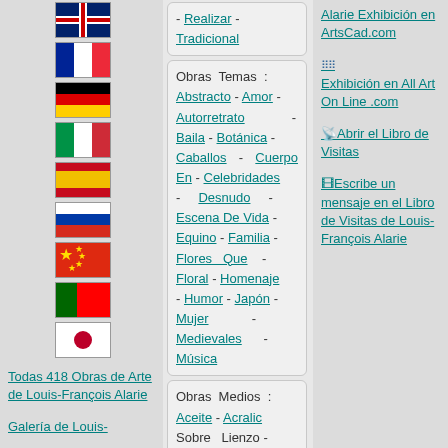[UK flag]
[France flag]
[Germany flag]
[Italy flag]
[Spain flag]
[Russia flag]
[China flag]
[Portugal flag]
[Japan flag]
Todas 418 Obras de Arte de Louis-François Alarie
Galería de Louis-
- Realizar Tradicional
Obras Temas : Abstracto - Amor - Autorretrato - Baila - Botánica - Caballos - Cuerpo En - Celebridades - Desnudo - Escena De Vida - Equino - Familia - Flores Que - Floral - Homenaje - Humor - Japón - Mujer - Medievales - Música
Obras Medios : Aceite - Acralic Sobre Lienzo -
Alarie Exhibición en ArtsCad.com
Exhibición en All Art On Line .com
Abrir el Libro de Visitas
Escribe un mensaje en el Libro de Visitas de Louis-François Alarie